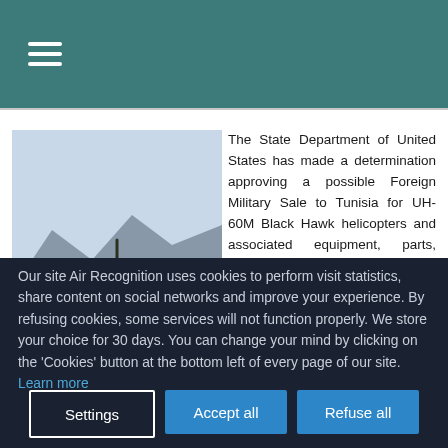≡
[Figure (photo): Military UH-60M Black Hawk helicopter on a tarmac with mountains in the background]
The State Department of United States has made a determination approving a possible Foreign Military Sale to Tunisia for UH-60M Black Hawk helicopters and associated equipment, parts, training and logistical support for an estimated cost of $700 million. The Defense Security...
Our site Air Recognition uses cookies to perform visit statistics, share content on social networks and improve your experience. By refusing cookies, some services will not function properly. We store your choice for 30 days. You can change your mind by clicking on the 'Cookies' button at the bottom left of every page of our site. Learn more